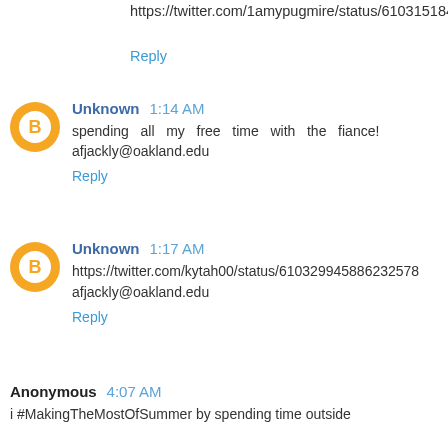https://twitter.com/1amypugmire/status/610315184855322624
Reply
Unknown 1:14 AM
spending all my free time with the fiance! afjackly@oakland.edu
Reply
Unknown 1:17 AM
https://twitter.com/kytah00/status/610329945886232578 afjackly@oakland.edu
Reply
Anonymous 4:07 AM
i #MakingTheMostOfSummer by spending time outside